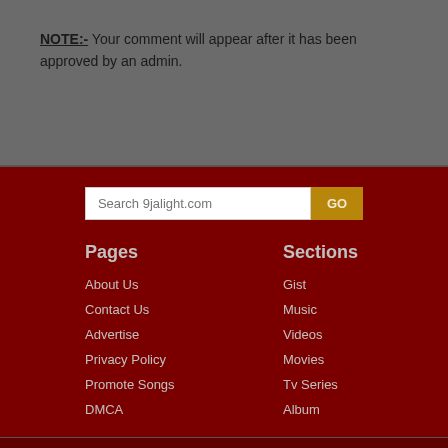NOTE:- Your comment will appear after it has been approved by an admin.
Search 9jalight.com
Pages
About Us
Contact Us
Advertise
Privacy Policy
Promote Songs
DMCA
Sections
Gist
Music
Videos
Movies
Tv Series
Album
[Figure (infographic): Social media icons: Facebook, Twitter, Instagram, YouTube, WhatsApp]
Copyright © 2022 9Jalight.com